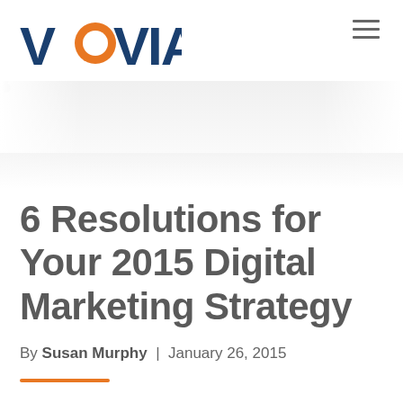[Figure (logo): Vovia logo: dark blue text VOVIA with orange speech-bubble O, sans-serif font]
[Figure (illustration): Banner of light gray human silhouette icons arranged in rows across the full width, fading from top center outward]
6 Resolutions for Your 2015 Digital Marketing Strategy
By Susan Murphy | January 26, 2015
[Figure (other): Short orange horizontal rule/divider line]